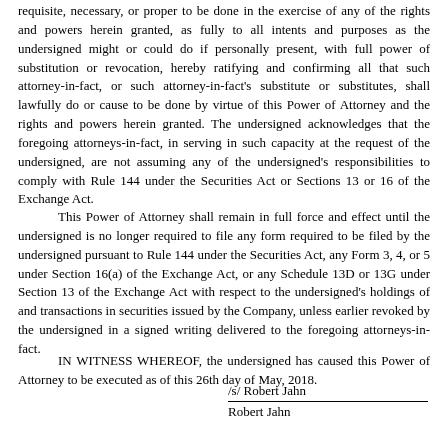requisite, necessary, or proper to be done in the exercise of any of the rights and powers herein granted, as fully to all intents and purposes as the undersigned might or could do if personally present, with full power of substitution or revocation, hereby ratifying and confirming all that such attorney-in-fact, or such attorney-in-fact's substitute or substitutes, shall lawfully do or cause to be done by virtue of this Power of Attorney and the rights and powers herein granted. The undersigned acknowledges that the foregoing attorneys-in-fact, in serving in such capacity at the request of the undersigned, are not assuming any of the undersigned's responsibilities to comply with Rule 144 under the Securities Act or Sections 13 or 16 of the Exchange Act.
This Power of Attorney shall remain in full force and effect until the undersigned is no longer required to file any form required to be filed by the undersigned pursuant to Rule 144 under the Securities Act, any Form 3, 4, or 5 under Section 16(a) of the Exchange Act, or any Schedule 13D or 13G under Section 13 of the Exchange Act with respect to the undersigned's holdings of and transactions in securities issued by the Company, unless earlier revoked by the undersigned in a signed writing delivered to the foregoing attorneys-in-fact.
IN WITNESS WHEREOF, the undersigned has caused this Power of Attorney to be executed as of this 26th day of May, 2018.
/s/ Robert Jahn
Robert Jahn